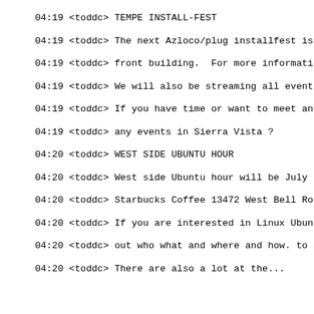04:19 <toddc> TEMPE INSTALL-FEST
04:19 <toddc> The next Azloco/plug installfest is Sa
04:19 <toddc> front building.  For more information
04:19 <toddc> We will also be streaming all events o
04:19 <toddc> If you have time or want to meet any o
04:19 <toddc> any events in Sierra Vista ?
04:20 <toddc> WEST SIDE UBUNTU HOUR
04:20 <toddc> West side Ubuntu hour will be July 2no
04:20 <toddc> Starbucks Coffee 13472 West Bell Road
04:20 <toddc> If you are interested in Linux Ubuntu
04:20 <toddc> out who what and where and how. to ins
04:20 <toddc> There are also a lot at the...